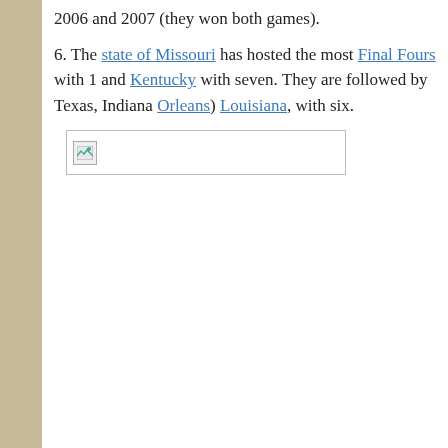2006 and 2007 (they won both games).
6. The state of Missouri has hosted the most Final Fours with 1 and Kentucky with seven. They are followed by Texas, Indiana Orleans) Louisiana, with six.
[Figure (other): Broken image placeholder box with small image icon]
Privacy & Cookies: This site uses cookies. By continuing to use this website, you agree to their use.
To find out more, including how to control cookies, see here: Cookie Policy